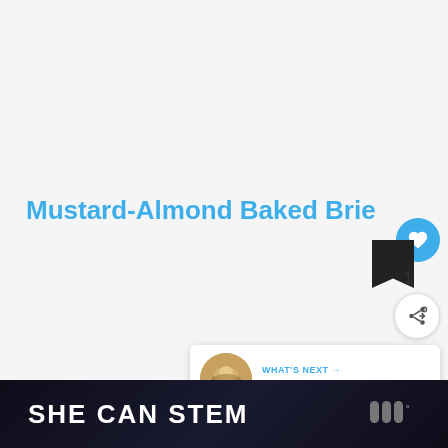Mustard-Almond Baked Brie
[Figure (other): Like/save button UI with heart icon, count of 1, and share button]
[Figure (other): What's Next panel with thumbnail and text: Perfect Party Appetizer:....]
SHE CAN STEM